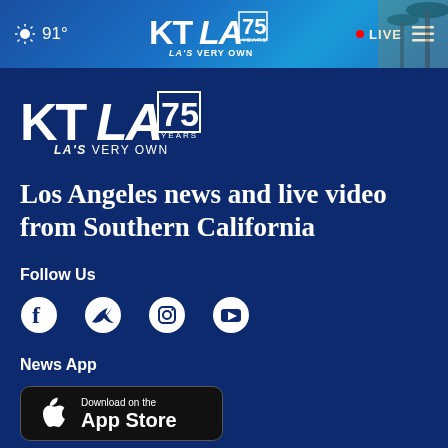91° KTLA 75 Years LA'S VERY OWN • LIVE
[Figure (logo): KTLA 75 Years LA'S VERY OWN logo in white on dark blue background]
Los Angeles news and live video from Southern California
Follow Us
[Figure (infographic): Social media icons: Facebook, Twitter, Instagram, YouTube]
News App
[Figure (screenshot): Download on the App Store button]